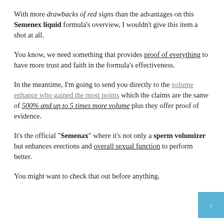With more drawbacks of red signs than the advantages on this Semenex liquid formula's overview, I wouldn't give this item a shot at all.
You know, we need something that provides proof of everything to have more trust and faith in the formula's effectiveness.
In the meantime, I'm going to send you directly to the volume enhance who gained the most points which the claims are the same of 500% and up to 5 times more volume plus they offer proof of evidence.
It's the official "Semenax" where it's not only a sperm volumizer but enhances erections and overall sexual function to perform better.
You might want to check that out before anything.